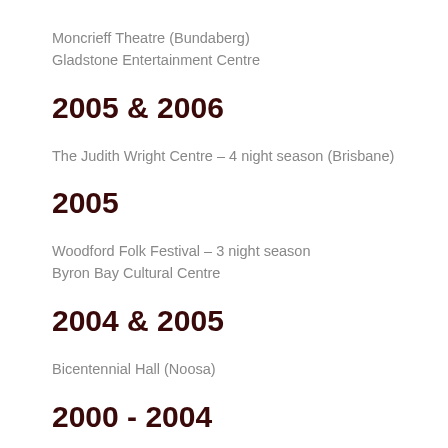Moncrieff Theatre (Bundaberg)
Gladstone Entertainment Centre
2005 & 2006
The Judith Wright Centre – 4 night season (Brisbane)
2005
Woodford Folk Festival – 3 night season
Byron Bay Cultural Centre
2004 & 2005
Bicentennial Hall (Noosa)
2000 - 2004